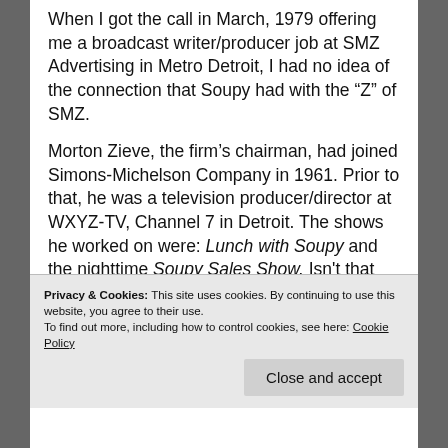When I got the call in March, 1979 offering me a broadcast writer/producer job at SMZ Advertising in Metro Detroit, I had no idea of the connection that Soupy had with the “Z” of SMZ.
Morton Zieve, the firm’s chairman, had joined Simons-Michelson Company in 1961. Prior to that, he was a television producer/director at WXYZ-TV, Channel 7 in Detroit. The shows he worked on were: Lunch with Soupy and the nighttime Soupy Sales Show. Isn’t that incredible?
Privacy & Cookies: This site uses cookies. By continuing to use this website, you agree to their use.
To find out more, including how to control cookies, see here: Cookie Policy
Close and accept